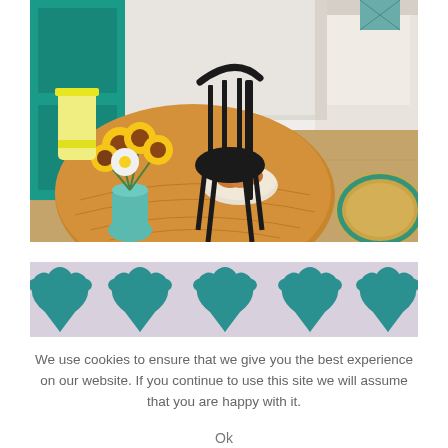[Figure (photo): Interior room photo showing a round wooden dining table with yellow sunflowers in a mint vase, pastries on a plate, a black Windsor-style chair, a teal painted door, white sofa, light wood flooring, and a round teal-bordered jute rug]
[Figure (photo): Decorative wallpaper or fabric pattern showing teal/turquoise stylized floral/tree motifs on a light lavender/grey background]
We use cookies to ensure that we give you the best experience on our website. If you continue to use this site we will assume that you are happy with it.
Ok